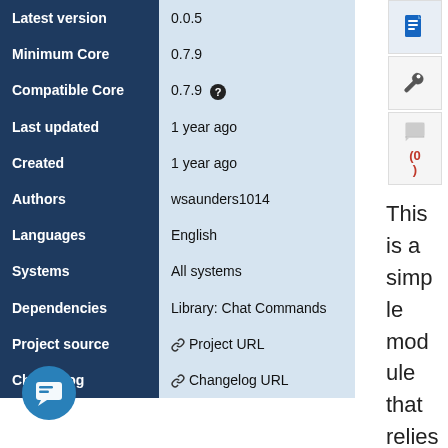| Field | Value |
| --- | --- |
| Latest version | 0.0.5 |
| Minimum Core | 0.7.9 |
| Compatible Core | 0.7.9 ? |
| Last updated | 1 year ago |
| Created | 1 year ago |
| Authors | wsaunders1014 |
| Languages | English |
| Systems | All systems |
| Dependencies | Library: Chat Commands |
| Project source | 🔗 Project URL |
| Changelog | 🔗 Changelog URL |
[Figure (other): Document icon (blue), wrench/settings icon, speech bubble icon, and comment count (0) in red — sidebar icons stacked vertically on the right side]
This is a simple module that relies on the Chat
[Figure (other): Blue circular chat bubble button in the bottom left corner]